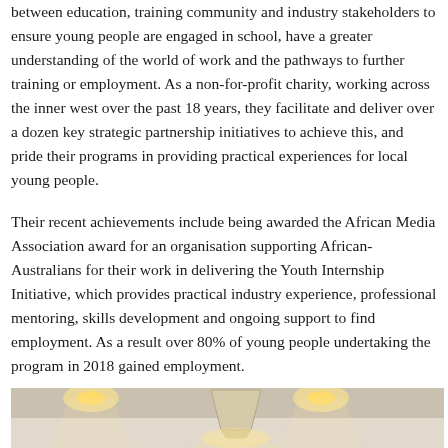between education, training community and industry stakeholders to ensure young people are engaged in school, have a greater understanding of the world of work and the pathways to further training or employment. As a non-for-profit charity, working across the inner west over the past 18 years, they facilitate and deliver over a dozen key strategic partnership initiatives to achieve this, and pride their programs in providing practical experiences for local young people.
Their recent achievements include being awarded the African Media Association award for an organisation supporting African-Australians for their work in delivering the Youth Internship Initiative, which provides practical industry experience, professional mentoring, skills development and ongoing support to find employment. As a result over 80% of young people undertaking the program in 2018 gained employment.
[Figure (photo): Interior room photo showing ceiling with spotlights and a pendant lamp shade in the center, warm lighting ambiance]